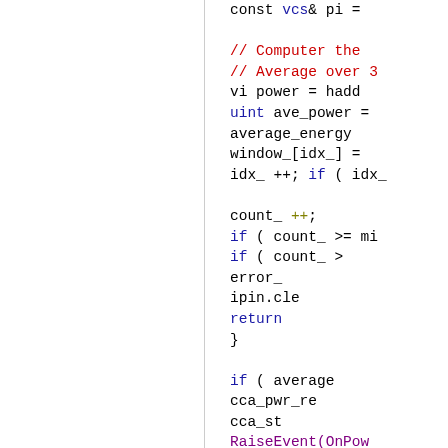[Figure (screenshot): Source code snippet showing C++ code with syntax highlighting. Code includes: const vcs& pi =, comments about Computer the and Average over 3, vi power = hadd, uint ave_power =, average_energy, window_[idx_] =, idx_ ++; if ( idx_, count_ ++;, if ( count_ >= mi, if ( count_ >, error_, ipin.cle, return, closing braces, if ( average, cca_pwr_re, cca_st, RaiseEvent(OnPow, closing braces, // Energy gating, if ( cca_state != c, vcs& po = c. Left portion is white/blank with a vertical separator line.]